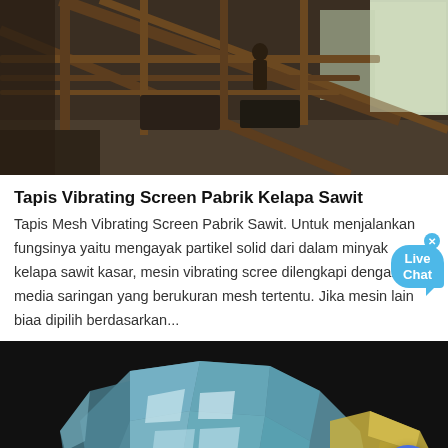[Figure (photo): Industrial interior photo showing a factory or warehouse with wooden/metal beam structure, railing, and a person visible in the background near windows]
Tapis Vibrating Screen Pabrik Kelapa Sawit
Tapis Mesh Vibrating Screen Pabrik Sawit. Untuk menjalankan fungsinya yaitu mengayak partikel solid dari dalam minyak kelapa sawit kasar, mesin vibrating scree dilengkapi dengan media saringan yang berukuran mesh tertentu. Jika mesin lain biaa dipilih berdasarkan...
[Figure (photo): Close-up photo of blue-green fluorite mineral crystal cluster on dark background with yellow mineral on the right side]